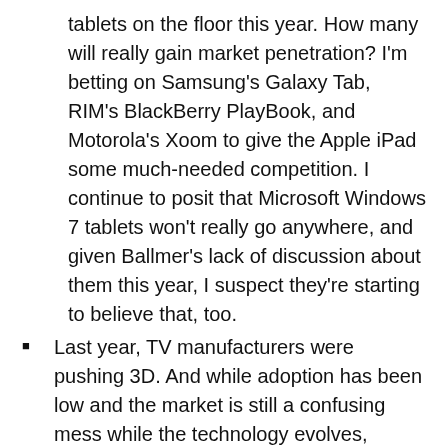tablets on the floor this year. How many will really gain market penetration? I'm betting on Samsung's Galaxy Tab, RIM's BlackBerry PlayBook, and Motorola's Xoom to give the Apple iPad some much-needed competition. I continue to posit that Microsoft Windows 7 tablets won't really go anywhere, and given Ballmer's lack of discussion about them this year, I suspect they're starting to believe that, too.
Last year, TV manufacturers were pushing 3D. And while adoption has been low and the market is still a confusing mess while the technology evolves, they're pushing it hard. But 3D wasn't the headline story for TVs this year—apps were the story. Apps on nearly every TV. While I'm in the wait-and-see camp on 3D, I'm firmly in the Hell-no camp on Apps for the television—particularly when they're built into the device itself.